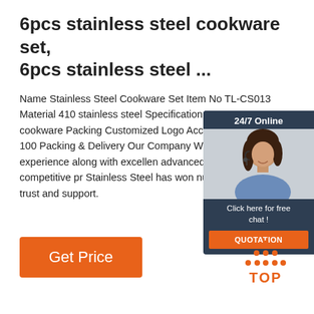6pcs stainless steel cookware set, 6pcs stainless steel ...
Name Stainless Steel Cookware Set Item No TL-CS013 Material 410 stainless steel Specification 16pcs cookware Packing Customized Logo Accepted MOQ 100 Packing & Delivery Our Company With export experience along with excellent advanced services and competitive pr... Stainless Steel has won numerous cu... trust and support.
[Figure (other): Chat widget overlay with '24/7 Online' header, photo of woman with headset, 'Click here for free chat!' text, and orange QUOTATION button]
[Figure (other): Orange 'Get Price' button]
[Figure (logo): TOP logo with orange dotted triangle above orange text reading TOP]